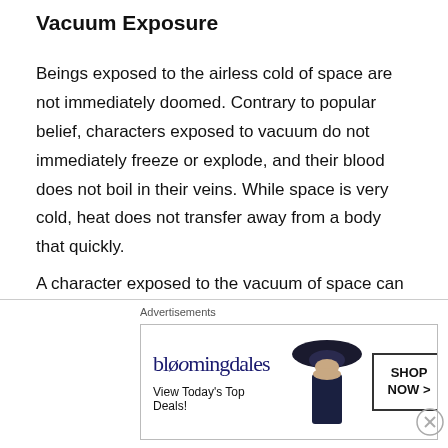Vacuum Exposure
Beings exposed to the airless cold of space are not immediately doomed. Contrary to popular belief, characters exposed to vacuum do not immediately freeze or explode, and their blood does not boil in their veins. While space is very cold, heat does not transfer away from a body that quickly.
A character exposed to the vacuum of space can hold his breath for 2 rounds per point of Constitution. After this period of time, you must make a DC 10 Constitution check in order to continue holding your breath. The save must be repeated each round, with the DC increasing by +1 for
[Figure (screenshot): Bloomingdale's advertisement banner with logo, 'View Today's Top Deals!' tagline, model wearing a hat, and 'SHOP NOW >' button]